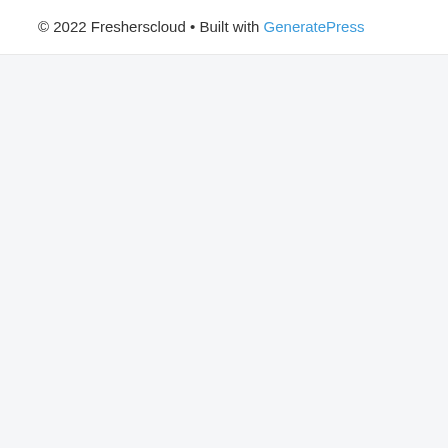© 2022 Fresherscloud • Built with GeneratePress